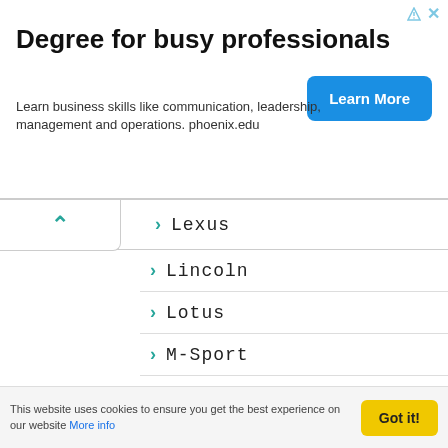[Figure (screenshot): Advertisement banner for University of Phoenix: 'Degree for busy professionals' with Learn More button]
Lexus
Lincoln
Lotus
M-Sport
M3
M4
M8
Macan
Manta
This website uses cookies to ensure you get the best experience on our website More info
Got it!